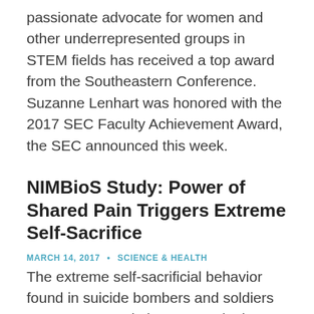passionate advocate for women and other underrepresented groups in STEM fields has received a top award from the Southeastern Conference. Suzanne Lenhart was honored with the 2017 SEC Faculty Achievement Award, the SEC announced this week.
NIMBioS Study: Power of Shared Pain Triggers Extreme Self-Sacrifice
MARCH 14, 2017 • SCIENCE & HEALTH
The extreme self-sacrificial behavior found in suicide bombers and soldiers presents an evolutionary puzzle: how can a trait that calls for an individual to make the ultimate sacrifice, especially in defense of